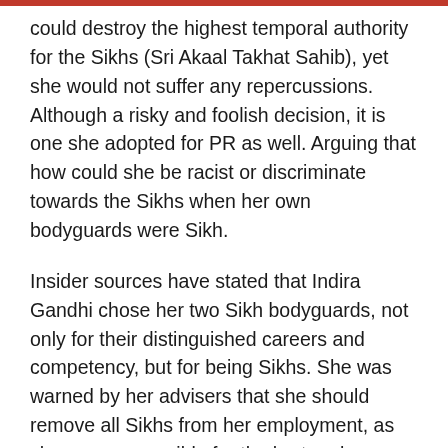could destroy the highest temporal authority for the Sikhs (Sri Akaal Takhat Sahib), yet she would not suffer any repercussions. Although a risky and foolish decision, it is one she adopted for PR as well. Arguing that how could she be racist or discriminate towards the Sikhs when her own bodyguards were Sikh.
Insider sources have stated that Indira Gandhi chose her two Sikh bodyguards, not only for their distinguished careers and competency, but for being Sikhs. She was warned by her advisers that she should remove all Sikhs from her employment, as she was responsible for the hurt and anger caused to the Sikh Nation. Yet she was arrogant, and wanted to show the world that